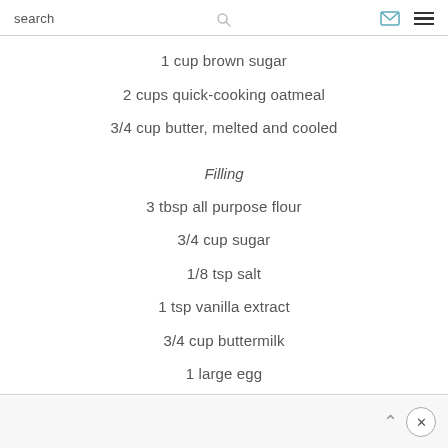search
1 cup brown sugar
2 cups quick-cooking oatmeal
3/4 cup butter, melted and cooled
Filling
3 tbsp all purpose flour
3/4 cup sugar
1/8 tsp salt
1 tsp vanilla extract
3/4 cup buttermilk
1 large egg
2 cups shredded apples (approx 3 medium apples, peeled)